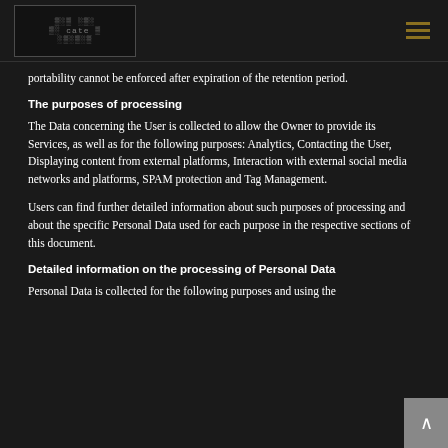Care Rio [logo] — navigation hamburger menu
portability cannot be enforced after expiration of the retention period.
The purposes of processing
The Data concerning the User is collected to allow the Owner to provide its Services, as well as for the following purposes: Analytics, Contacting the User, Displaying content from external platforms, Interaction with external social media networks and platforms, SPAM protection and Tag Management.
Users can find further detailed information about such purposes of processing and about the specific Personal Data used for each purpose in the respective sections of this document.
Detailed information on the processing of Personal Data
Personal Data is collected for the following purposes and using the